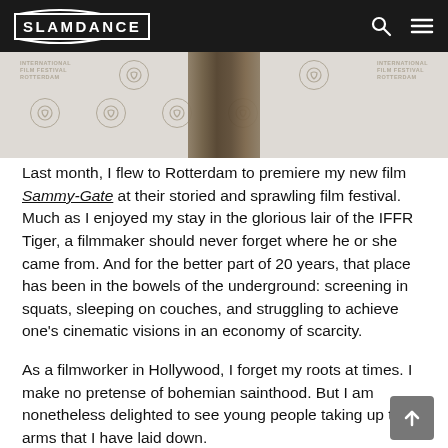SLAMDANCE
[Figure (photo): Partial photo of a wooden/brown vertical object (possibly a trophy or sculpture) against a white backdrop with repeated 'International Film Festival Rotterdam' logos and tiger icons]
Last month, I flew to Rotterdam to premiere my new film Sammy-Gate at their storied and sprawling film festival. Much as I enjoyed my stay in the glorious lair of the IFFR Tiger, a filmmaker should never forget where he or she came from. And for the better part of 20 years, that place has been in the bowels of the underground: screening in squats, sleeping on couches, and struggling to achieve one's cinematic visions in an economy of scarcity.
As a filmworker in Hollywood, I forget my roots at times. I make no pretense of bohemian sainthood. But I am nonetheless delighted to see young people taking up the arms that I have laid down.
And that brings me to the story of La Clef, a small cinema in the Latin Quarter of Paris.